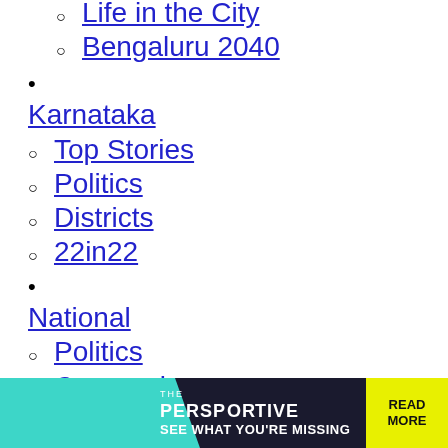Infrastructure
Life in the City
Bengaluru 2040
Karnataka
Top Stories
Politics
Districts
22in22
National
Politics
Coronavirus
North and Central
East and Northeast
South
West
India@75
Sports
Cricket
Formula 1
Football
Tennis
Sportscene
[Figure (screenshot): Advertisement banner: THE PERSPECTIVE - SEE WHAT YOU'RE MISSING - READ MORE]